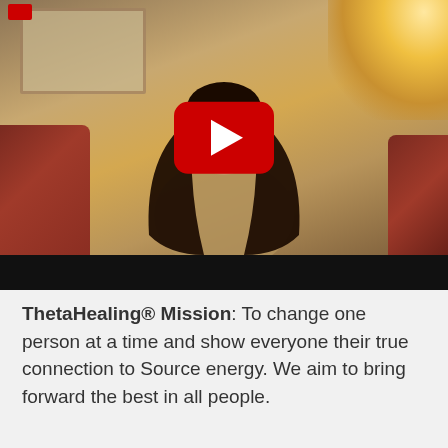[Figure (screenshot): A YouTube video thumbnail showing a woman with long dark hair sitting on a red couch in a warmly lit room. A lamp is visible in the top right, a painting on the wall in the top left. A red YouTube play button is centered on the video. A small red marker is visible in the top left corner of the video frame.]
ThetaHealing® Mission:  To change one person at a time and show everyone their true connection to Source energy. We aim to bring forward the best in all people.